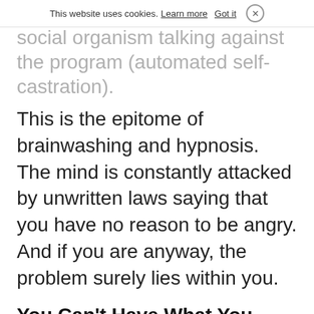This website uses cookies. Learn more   Got it  ×
will automatically mute the cells of the social organism talking against the program (automated self-castration).
This is the epitome of brainwashing and hypnosis. The mind is constantly attacked by unwritten laws saying that you have no reason to be angry. And if you are anyway, the problem surely lies within you.
You Can't Have What You Want
You are severely limited in your options. Many of your desires and dreams will never take place because they are